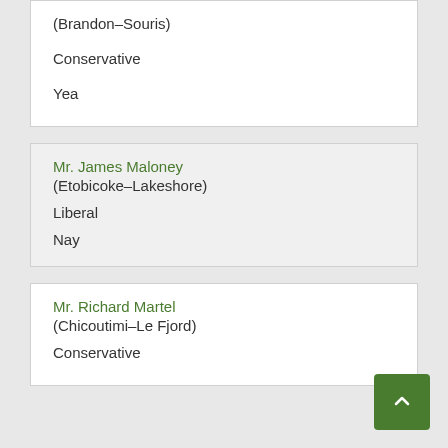(Brandon–Souris)
Conservative
Yea
Mr. James Maloney
(Etobicoke–Lakeshore)
Liberal
Nay
Mr. Richard Martel
(Chicoutimi–Le Fjord)
Conservative